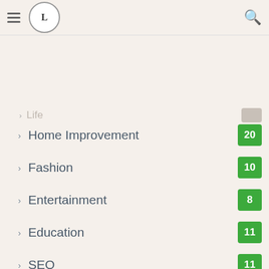[Figure (screenshot): Website navigation screenshot showing a mobile menu with categories and post counts]
Home Improvement 20
Fashion 10
Entertainment 8
Education 11
SEO 11
Digital Marketing 2
Featured 10
Uncategorized 8
[Figure (screenshot): Belk.com advertisement banner - Belk Official Site, shop for clothing, handbags, jewelry, beauty, home & more. www.belk.com]